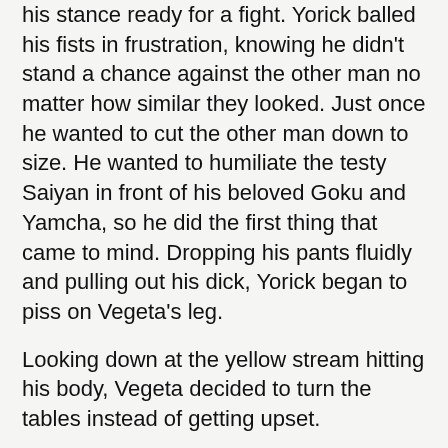his stance ready for a fight. Yorick balled his fists in frustration, knowing he didn't stand a chance against the other man no matter how similar they looked. Just once he wanted to cut the other man down to size. He wanted to humiliate the testy Saiyan in front of his beloved Goku and Yamcha, so he did the first thing that came to mind. Dropping his pants fluidly and pulling out his dick, Yorick began to piss on Vegeta's leg.
Looking down at the yellow stream hitting his body, Vegeta decided to turn the tables instead of getting upset.
"You really think you're the first person to piss on me?" Dropping to his knees, he spread his arms slightly and let it hit him in the chest. "Give me all you got if that's what gets you off." Smirking at the shocked reaction on Yorick's face, he decided to take